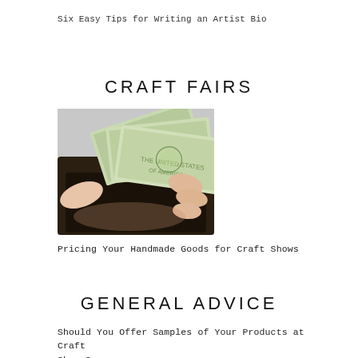Six Easy Tips for Writing an Artist Bio
CRAFT FAIRS
[Figure (photo): Hands pulling US dollar bills from a dark wallet]
Pricing Your Handmade Goods for Craft Shows
GENERAL ADVICE
Should You Offer Samples of Your Products at Craft Shows?